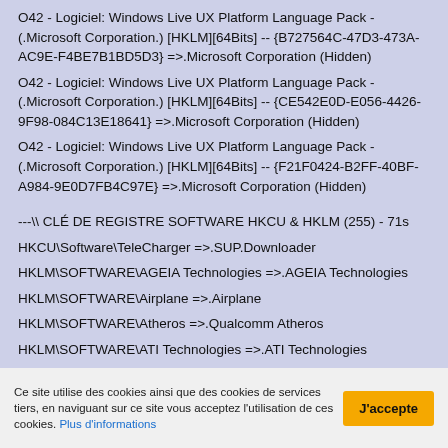O42 - Logiciel: Windows Live UX Platform Language Pack - (.Microsoft Corporation.) [HKLM][64Bits] -- {B727564C-47D3-473A-AC9E-F4BE7B1BD5D3} =>.Microsoft Corporation (Hidden)
O42 - Logiciel: Windows Live UX Platform Language Pack - (.Microsoft Corporation.) [HKLM][64Bits] -- {CE542E0D-E056-4426-9F98-084C13E18641} =>.Microsoft Corporation (Hidden)
O42 - Logiciel: Windows Live UX Platform Language Pack - (.Microsoft Corporation.) [HKLM][64Bits] -- {F21F0424-B2FF-40BF-A984-9E0D7FB4C97E} =>.Microsoft Corporation (Hidden)
---\\ CLÉ DE REGISTRE SOFTWARE HKCU & HKLM (255) - 71s
HKCU\Software\TeleCharger =>.SUP.Downloader
HKLM\SOFTWARE\AGEIA Technologies =>.AGEIA Technologies
HKLM\SOFTWARE\Airplane =>.Airplane
HKLM\SOFTWARE\Atheros =>.Qualcomm Atheros
HKLM\SOFTWARE\ATI Technologies =>.ATI Technologies
Ce site utilise des cookies ainsi que des cookies de services tiers, en naviguant sur ce site vous acceptez l'utilisation de ces cookies. Plus d'informations
J'accepte